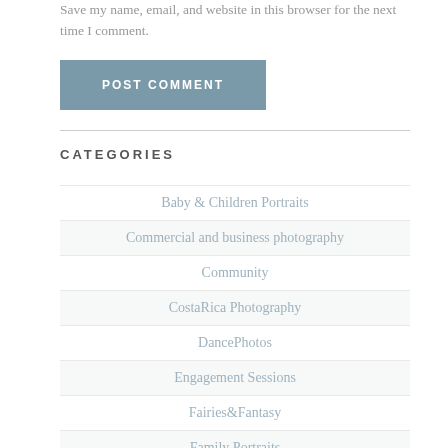Save my name, email, and website in this browser for the next time I comment.
POST COMMENT
CATEGORIES
Baby & Children Portraits
Commercial and business photography
Community
CostaRica Photography
DancePhotos
Engagement Sessions
Fairies&Fantasy
Family Portraits